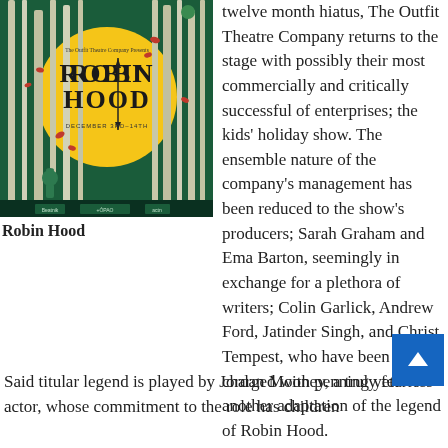[Figure (illustration): Robin Hood theatrical poster with dark green forest background, white bare trees, a large yellow/gold circle (moon), stylized text 'ROBIN HOOD' in large black serif letters, small green character at base, red leaves, 'December' dates text, and sponsor logos at bottom.]
Robin Hood
twelve month hiatus, The Outfit Theatre Company returns to the stage with possibly their most commercially and critically successful of enterprises; the kids' holiday show. The ensemble nature of the company's management has been reduced to the show's producers; Sarah Graham and Ema Barton, seemingly in exchange for a plethora of writers; Colin Garlick, Andrew Ford, Jatinder Singh, and Christ Tempest, who have been charged with penning yet another adaptation of the legend of Robin Hood.
Said titular legend is played by Jordan Mooney, a truly fearless actor, whose commitment to the role has children